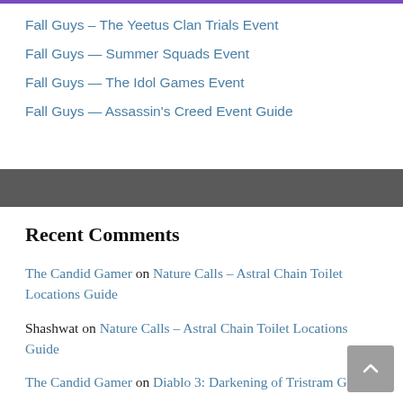Fall Guys – The Yeetus Clan Trials Event
Fall Guys — Summer Squads Event
Fall Guys — The Idol Games Event
Fall Guys — Assassin's Creed Event Guide
Recent Comments
The Candid Gamer on Nature Calls – Astral Chain Toilet Locations Guide
Shashwat on Nature Calls – Astral Chain Toilet Locations Guide
The Candid Gamer on Diablo 3: Darkening of Tristram Guide